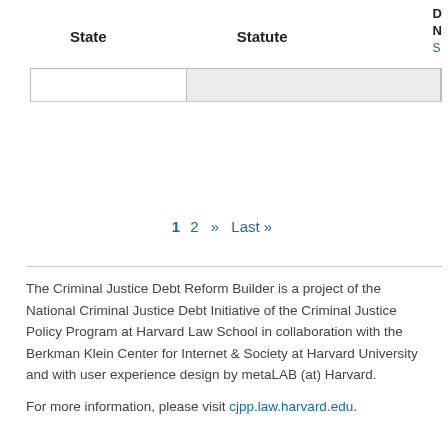| State | Statute | D N S |
| --- | --- | --- |
|  |  |  |
1  2  »  Last »
The Criminal Justice Debt Reform Builder is a project of the National Criminal Justice Debt Initiative of the Criminal Justice Policy Program at Harvard Law School in collaboration with the Berkman Klein Center for Internet & Society at Harvard University and with user experience design by metaLAB (at) Harvard.
For more information, please visit cjpp.law.harvard.edu.